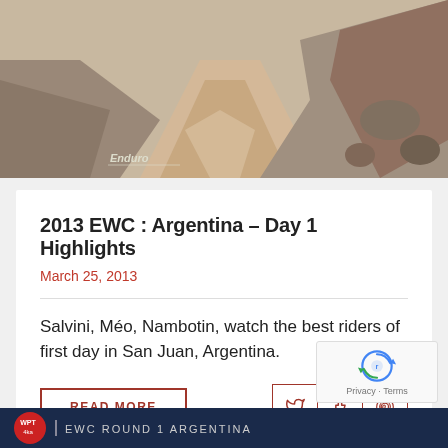[Figure (photo): Aerial/ground view of a dirt road through rocky terrain in Argentina]
2013 EWC : Argentina – Day 1 Highlights
March 25, 2013
Salvini, Méo, Nambotin, watch the best riders of first day in San Juan, Argentina.
READ MORE